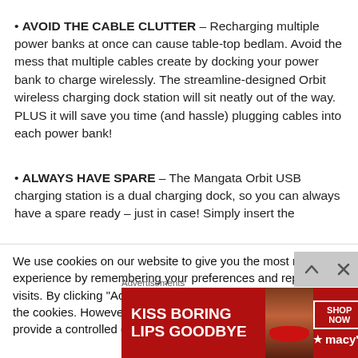• AVOID THE CABLE CLUTTER – Recharging multiple power banks at once can cause table-top bedlam. Avoid the mess that multiple cables create by docking your power bank to charge wirelessly. The streamline-designed Orbit wireless charging dock station will sit neatly out of the way. PLUS it will save you time (and hassle) plugging cables into each power bank!
• ALWAYS HAVE SPARE – The Mangata Orbit USB charging station is a dual charging dock, so you can always have a spare ready – just in case! Simply insert the
We use cookies on our website to give you the most relevant experience by remembering your preferences and repeat visits. By clicking "Accept All", you consent to the use of ALL the cookies. However, you may visit "Cookie Settings" to provide a controlled consent.
Advertisements
[Figure (other): Advertisement banner for Macy's: red background with text 'KISS BORING LIPS GOODBYE', a photo of a woman's face with red lips, a 'SHOP NOW' button, and the Macy's logo with star.]